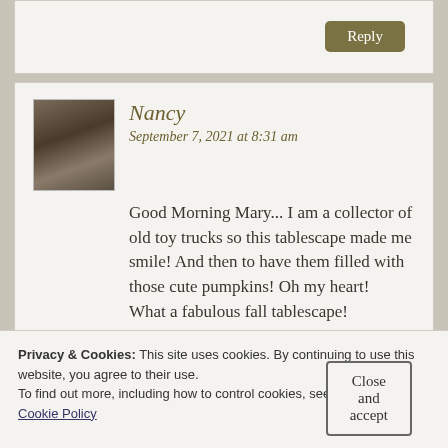Reply
[Figure (photo): Small avatar photo of Nancy showing figurines or statues, brownish tones]
Nancy
September 7, 2021 at 8:31 am
Good Morning Mary... I am a collector of old toy trucks so this tablescape made me smile! And then to have them filled with those cute pumpkins! Oh my heart!
What a fabulous fall tablescape!
Privacy & Cookies: This site uses cookies. By continuing to use this website, you agree to their use.
To find out more, including how to control cookies, see here:
Cookie Policy
Close and accept
Reply